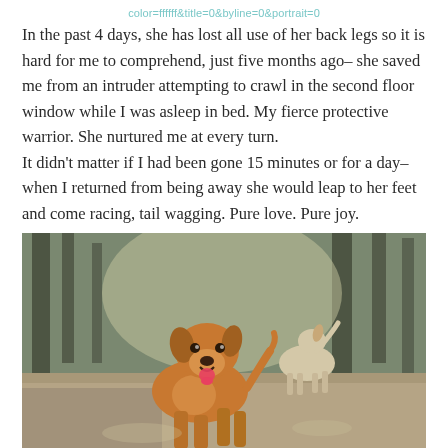color=ffffff&title=0&byline=0&portrait=0
In the past 4 days, she has lost all use of her back legs so it is hard for me to comprehend, just five months ago– she saved me from an intruder attempting to crawl in the second floor window while I was asleep in bed. My fierce protective warrior. She nurtured me at every turn.
It didn't matter if I had been gone 15 minutes or for a day– when I returned from being away she would leap to her feet and come racing, tail wagging. Pure love. Pure joy.
[Figure (photo): Two dogs running outdoors in a natural setting with trees in the background. A golden/red-coated dog is in the foreground running toward the camera with mouth open, and a lighter-coated dog is visible in the background.]